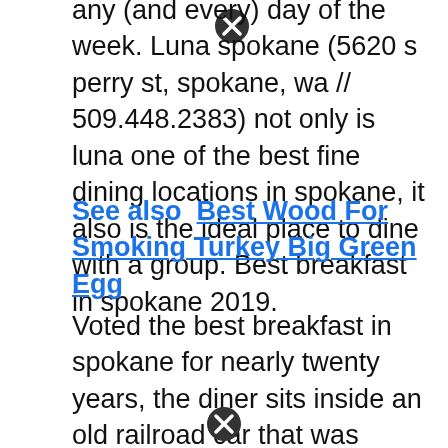any (and every) day of the week. Luna spokane (5620 s perry st, spokane, wa // 509.448.2383) not only is luna one of the best fine dining locations in spokane, it also is the ideal place to dine with a group. Best breakfast in spokane 2019.
See also  Best Wood For Smoking Turkey Big Green Egg
Voted the best breakfast in spokane for nearly twenty years, the diner sits inside an old railroad car that was transformed in 1932 into a stylishly appointed diner car. Best filet mignon in spokane; Explore best places to eat breakfast in spokane valley and nearby.